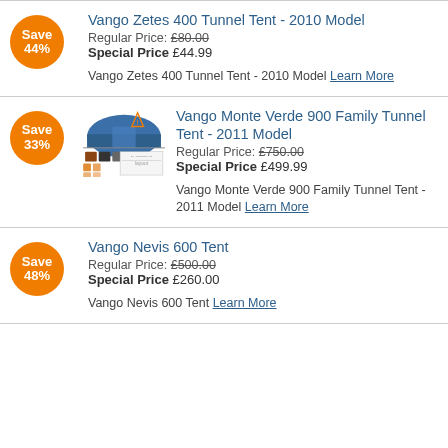Vango Zetes 400 Tunnel Tent - 2010 Model
Regular Price: £80.00 Special Price £44.99
Vango Zetes 400 Tunnel Tent - 2010 Model Learn More
Vango Monte Verde 900 Family Tunnel Tent - 2011 Model
Regular Price: £750.00 Special Price £499.99
Vango Monte Verde 900 Family Tunnel Tent - 2011 Model Learn More
Vango Nevis 600 Tent
Regular Price: £500.00 Special Price £260.00
Vango Nevis 600 Tent Learn More